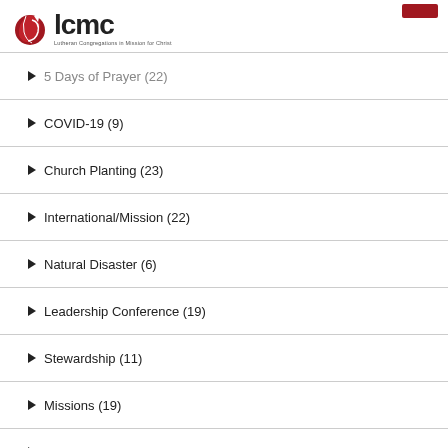lcmc - Lutheran Congregations in Mission for Christ
5 Days of Prayer (22)
COVID-19 (9)
Church Planting (23)
International/Mission (22)
Natural Disaster (6)
Leadership Conference (19)
Stewardship (11)
Missions (19)
Service Project (10)
Asia (3)
Church Bodies (4)